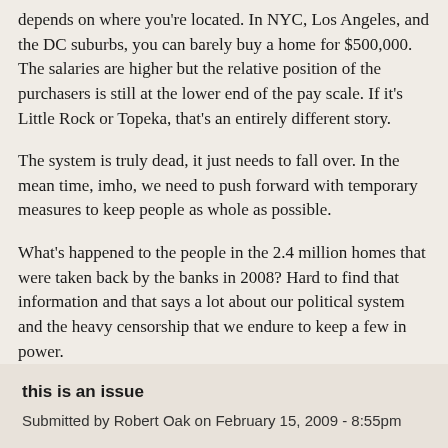depends on where you're located. In NYC, Los Angeles, and the DC suburbs, you can barely buy a home for $500,000. The salaries are higher but the relative position of the purchasers is still at the lower end of the pay scale. If it's Little Rock or Topeka, that's an entirely different story.
The system is truly dead, it just needs to fall over. In the mean time, imho, we need to push forward with temporary measures to keep people as whole as possible.
What's happened to the people in the 2.4 million homes that were taken back by the banks in 2008? Hard to find that information and that says a lot about our political system and the heavy censorship that we endure to keep a few in power.
Michael Collins
this is an issue
Submitted by Robert Oak on February 15, 2009 - 8:55pm